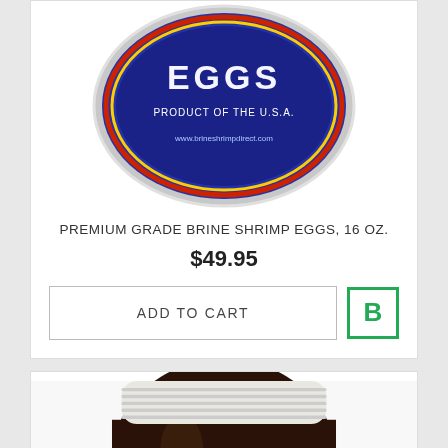[Figure (photo): Top-down view of a blue tin/can lid with 'EGGS' text and 'PRODUCT OF THE U.S.A.' and website URL on a decorative label, brine shrimp product packaging]
PREMIUM GRADE BRINE SHRIMP EGGS, 16 OZ.
$49.95
ADD TO CART
[Figure (photo): Dark brown glass jar with white screw-top lid, partially visible red label at bottom, brine shrimp eggs product]